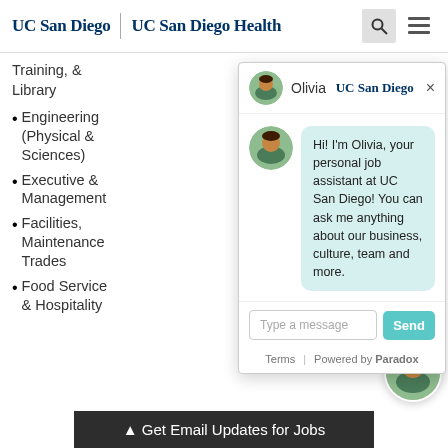UC San Diego | UC San Diego Health
Training, & Library
Engineering (Physical & Sciences)
Executive & Management
Facilities, Maintenance Trades
Food Service & Hospitality
[Figure (screenshot): Chat widget showing Olivia, a virtual job assistant for UC San Diego. Header shows avatar, name 'Olivia', UC San Diego branding and close button. Chat bubble reads: Hi! I'm Olivia, your personal job assistant at UC San Diego! You can ask me anything about our business, culture, team and more. Input field says 'Type a message' with a teal Send button. Footer shows Terms | Powered by Paradox.]
[Figure (photo): Floating circular avatar of Olivia in bottom right corner]
▲ Get Email Updates for Jobs